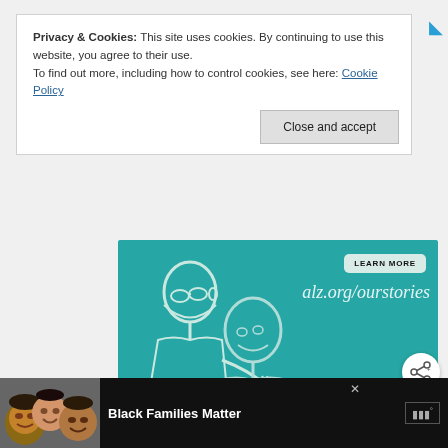Privacy & Cookies: This site uses cookies. By continuing to use this website, you agree to their use.
To find out more, including how to control cookies, see here: Cookie Policy
Close and accept
[Figure (illustration): Alzheimer's Association advertisement on teal background showing two illustrated people (an elderly man and a younger person), with 'LEARN MORE' button, 'alz.org/ourstories' text, and Alzheimer's Association logo with 'ad' badge.]
[Figure (illustration): Black Families Matter advertisement banner at bottom: photo of three smiling people on dark background with 'Black Families Matter' bold text and a logo.]